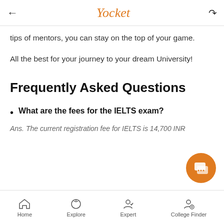Yocket
tips of mentors, you can stay on the top of your game.
All the best for your journey to your dream University!
Frequently Asked Questions
What are the fees for the IELTS exam?
Ans. The current registration fee for IELTS is 14,700 INR
Home  Explore  Expert  College Finder